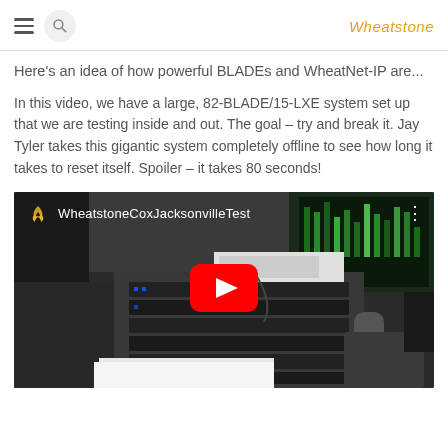Wheatstone
Here's an idea of how powerful BLADEs and WheatNet-IP are...
In this video, we have a large, 82-BLADE/15-LXE system set up that we are testing inside and out. The goal – try and break it. Jay Tyler takes this gigantic system completely offline to see how long it takes to reset itself. Spoiler – it takes 80 seconds!
[Figure (screenshot): YouTube video thumbnail showing broadcasting equipment labeled 'WheatstoneCoxJacksonvilleTest' with a YouTube play button overlay]